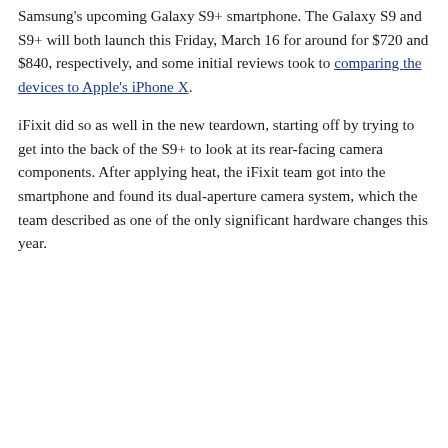Samsung's upcoming Galaxy S9+ smartphone. The Galaxy S9 and S9+ will both launch this Friday, March 16 for around for $720 and $840, respectively, and some initial reviews took to comparing the devices to Apple's iPhone X.
iFixit did so as well in the new teardown, starting off by trying to get into the back of the S9+ to look at its rear-facing camera components. After applying heat, the iFixit team got into the smartphone and found its dual-aperture camera system, which the team described as one of the only significant hardware changes this year.